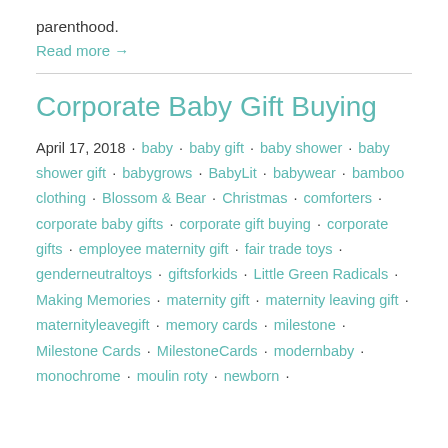parenthood.
Read more →
Corporate Baby Gift Buying
April 17, 2018 · baby · baby gift · baby shower · baby shower gift · babygrows · BabyLit · babywear · bamboo clothing · Blossom & Bear · Christmas · comforters · corporate baby gifts · corporate gift buying · corporate gifts · employee maternity gift · fair trade toys · genderneutraltoys · giftsforkids · Little Green Radicals · Making Memories · maternity gift · maternity leaving gift · maternityleavegift · memory cards · milestone · Milestone Cards · MilestoneCards · modernbaby · monochrome · moulin roty · newborn ·